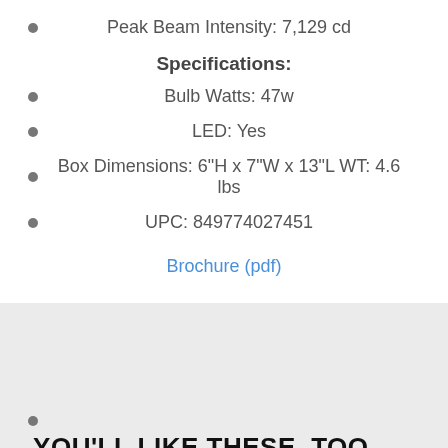Peak Beam Intensity: 7,129 cd
Specifications:
Bulb Watts: 47w
LED: Yes
Box Dimensions: 6"H x 7"W x 13"L WT: 4.6 lbs
UPC: 849774027451
Brochure (pdf)
YOU'LL LIKE THESE, TOO......